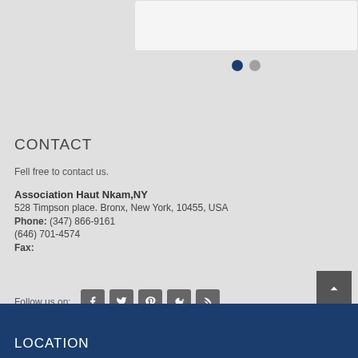[Figure (screenshot): Partial white card at top right of page]
[Figure (other): Pagination dots: one dark navy dot (active) and one grey dot]
CONTACT
Fell free to contact us.
Association Haut Nkam,NY
528 Timpson place. Bronx, New York, 10455, USA
Phone: (347) 866-9161
(646) 701-4574
Fax:
Follow us on:
[Figure (other): Social media icons: Facebook, Twitter, Pinterest, Google+, RSS]
[Figure (other): Back to top button (dark grey square with upward chevron)]
LOCATION